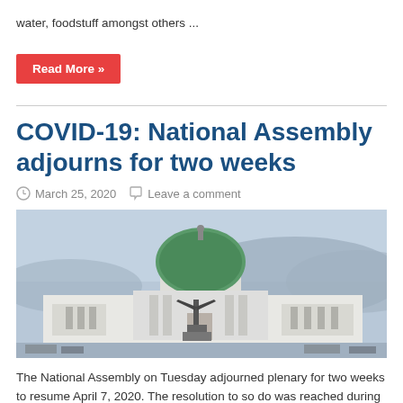water, foodstuff amongst others ...
Read More »
COVID-19: National Assembly adjourns for two weeks
March 25, 2020   Leave a comment
[Figure (photo): Exterior photo of the Nigerian National Assembly building with a green dome and a sculpture in the foreground, against a hazy sky with hills in the background.]
The National Assembly on Tuesday adjourned plenary for two weeks to resume April 7, 2020. The resolution to so do was reached during a closed ...